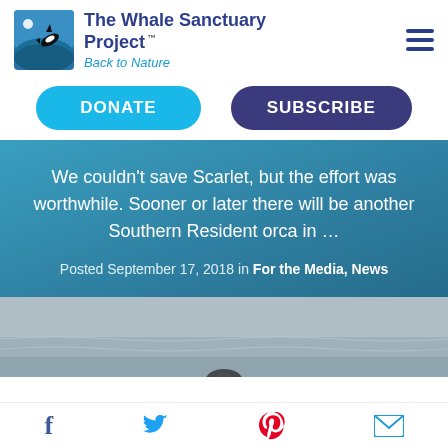[Figure (logo): The Whale Sanctuary Project logo: blue square with orca jumping and moon above waves. Text: 'The Whale Sanctuary Project' and 'Back to Nature' tagline with TM mark.]
DONATE
SUBSCRIBE
We couldn’t save Scarlet, but the effort was worthwhile. Sooner or later there will be another Southern Resident orca in …
Posted September 17, 2018 in For the Media, News
[Figure (photo): Grayscale photo of ocean water with a partially visible orca or marine mammal at the bottom center.]
[Figure (infographic): Social share footer bar with Facebook, Twitter, Pinterest, and email icons.]